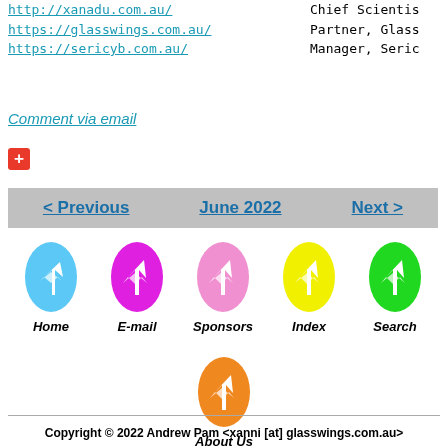http://xanadu.com.au/
https://glasswings.com.au/
https://sericyb.com.au/
Chief Scientist
Partner, Glass
Manager, Seric
Comment via email
+
< Previous   June 2022   Next >
[Figure (illustration): Navigation icons: Home (blue oval), E-mail (magenta oval), Sponsors (pink oval), Index (yellow oval), Search (green oval), About Us (orange oval) - each with a white wing/bird logo]
Copyright © 2022 Andrew Pam <xanni [at] glasswings.com.au>